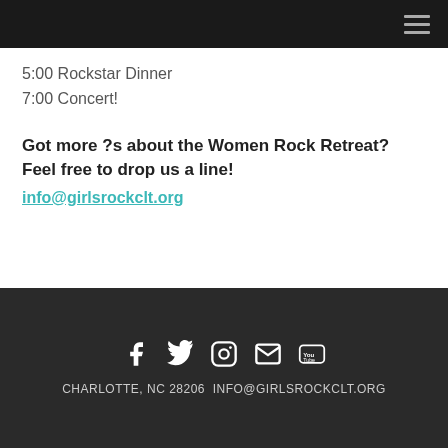5:00 Rockstar Dinner
7:00 Concert!
Got more ?s about the Women Rock Retreat? Feel free to drop us a line!
info@girlsrockclt.org
CHARLOTTE, NC 28206  INFO@GIRLSROCKCLT.ORG